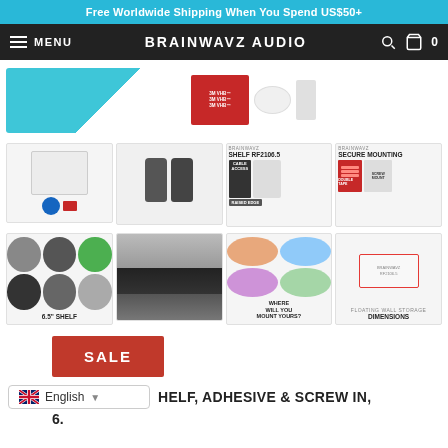Free Worldwide Shipping When You Spend US$50+
MENU  BRAINWAVZ AUDIO
[Figure (photo): Product thumbnail images showing shelf product with teal/blue circle, 3M VHB tape, oval white item, and product spec sheets]
[Figure (photo): Grid of 4 product thumbnails: white shelf product, camera lenses on shelf, SHELF RF2106.5 with CABLE ACCESS and RAISED EDGE labels, SECURE MOUNTING with DOUBLE TAPE and SCREW MOUNT labels]
[Figure (photo): Bottom row of 4 product thumbnails: 6.5 SHELF - icons grid showing multiple use cases, shelf with books and devices, WHERE WILL YOU MOUNT YOURS circular photo grid, DIMENSIONS diagram showing product measurements]
SALE
6. HELF, ADHESIVE & SCREW IN.